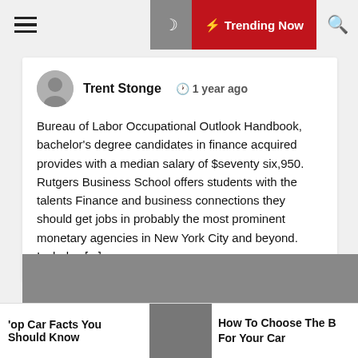Trending Now
Trent Stonge   1 year ago
Bureau of Labor Occupational Outlook Handbook, bachelor's degree candidates in finance acquired provides with a median salary of $seventy six,950. Rutgers Business School offers students with the talents Finance and business connections they should get jobs in probably the most prominent monetary agencies in New York City and beyond. Includes [...]
[Figure (photo): Gray placeholder image for an article]
'op Car Facts You Should Know
How To Choose The B For Your Car